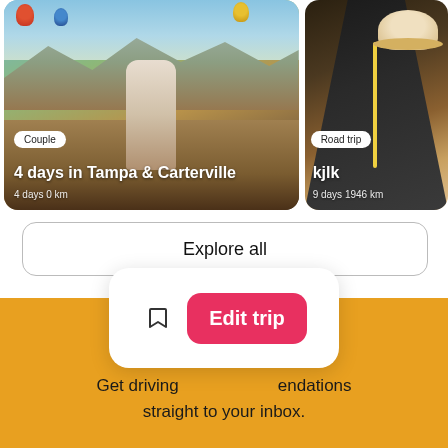[Figure (photo): Travel card showing a couple in a desert landscape with hot air balloons, labeled 'Couple', '4 days in Tampa & Carterville', '4 days 0 km']
[Figure (photo): Travel card showing road trip scene with hat and winding road, labeled 'Road trip', 'kjlk', '9 days 1946 km']
Explore all
Get driving                    endations straight to your inbox.
Edit trip